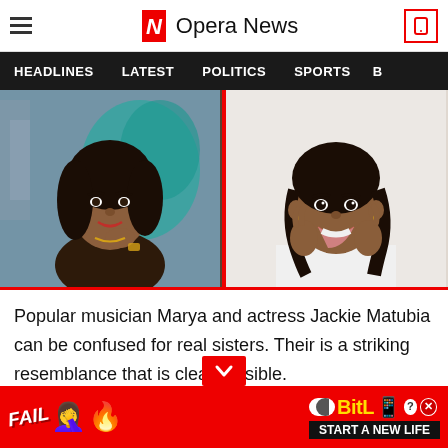Opera News
HEADLINES  LATEST  POLITICS  SPORTS  B
[Figure (photo): Side-by-side photos of two women: popular musician Marya (left) with graffiti background, and actress Jackie Matubia (right) smiling with hands on cheeks on white background. Photos separated by a red vertical divider.]
Popular musician Marya and actress Jackie Matubia can be confused for real sisters. Their is a striking resemblance that is clearly visible.
What are your thoughts ab  s article, share your
[Figure (infographic): Advertisement banner: BitLife 'Start a New Life' game ad with red background, fail emoji, fire emoji, and BitLife logo with yellow text.]